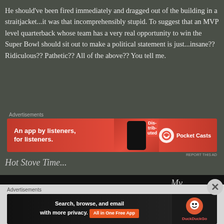He should've been fired immediately and dragged out of the building in a straitjacket...it was that incomprehensibly stupid. To suggest that an MVP level quarterback whose team has a very real opportunity to win the Super Bowl should sit out to make a political statement is just...insane?? Ridiculous?? Pathetic?? All of the above?? You tell me.
[Figure (screenshot): Pocket Casts advertisement banner: red background with phone graphic and text 'An app by listeners, for listeners.' and Pocket Casts logo]
Hot Stove Time...
[Figure (screenshot): Pittsburgh Pirates logo on black background with 'PIRATES' text in large gold and yellow letters with black outline. Partial text 'My Pittsburgh' visible to the right.]
[Figure (screenshot): DuckDuckGo advertisement banner on dark background: 'Search, browse, and email with more privacy. All in One Free App' with DuckDuckGo logo]